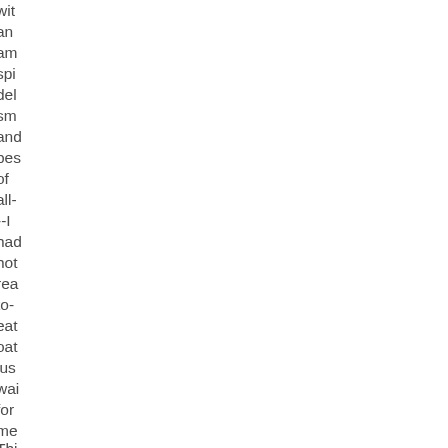with an am spi del sm and bes of all- --I had hot rea to- eat oat just wai for me
Thi cer